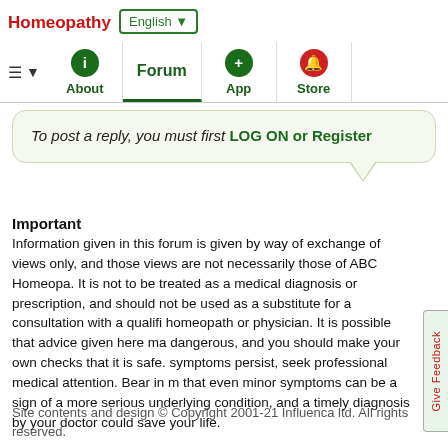Homeopathy | English ▼
≡ ▼ | About | Forum | App | Store
To post a reply, you must first LOG ON or Register
Important
Information given in this forum is given by way of exchange of views only, and those views are not necessarily those of ABC Homeopathy. It is not to be treated as a medical diagnosis or prescription, and should not be used as a substitute for a consultation with a qualified homeopath or physician. It is possible that advice given here may be dangerous, and you should make your own checks that it is safe. If symptoms persist, seek professional medical attention. Bear in mind that even minor symptoms can be a sign of a more serious underlying condition, and a timely diagnosis by your doctor could save your life.
Site contents and design © Copyright 2001-21 Influenca ltd. All rights reserved.